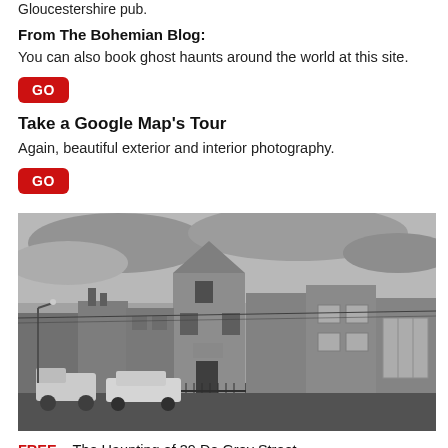Gloucestershire pub.
From The Bohemian Blog:
You can also book ghost haunts around the world at this site.
GO
Take a Google Map's Tour
Again, beautiful exterior and interior photography.
GO
[Figure (photo): Black and white photograph of a row of terraced houses, including a taller Victorian-style building in the centre, with cars parked on the street in front.]
FREE – The Haunting of 39 De Grey Street.
The U.K.'s Most HAUNTED House
The OUIJA Brothers & Paranormal-X